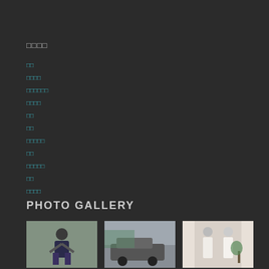□□□□
□□
□□□□
□□□□□□
□□□□
□□
□□
□□□□□
□□
□□□□□
□□
□□□□
PHOTO GALLERY
[Figure (photo): Man with beard standing, thumbs up pose]
[Figure (photo): Car and people on street]
[Figure (photo): Two women in white dresses]